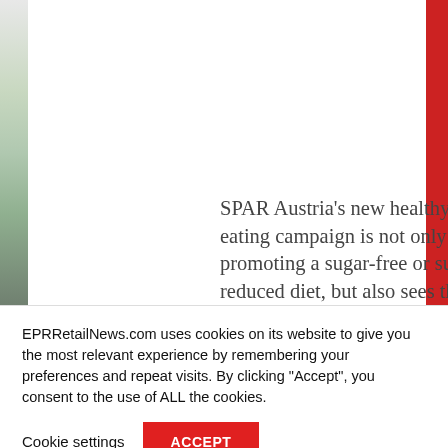[Figure (photo): Partial webpage screenshot showing a store/retail image on the left side and a red strip on the right, with article text overlay reading about SPAR Austria's new healthy eating campaign]
SPAR Austria's new healthy eating campaign is not only about promoting a sugar-free or sugar-reduced diet, but also sees the company supporting child nutrition by endorsing the drive
EPRRetailNews.com uses cookies on its website to give you the most relevant experience by remembering your preferences and repeat visits. By clicking "Accept", you consent to the use of ALL the cookies.
Cookie settings
ACCEPT